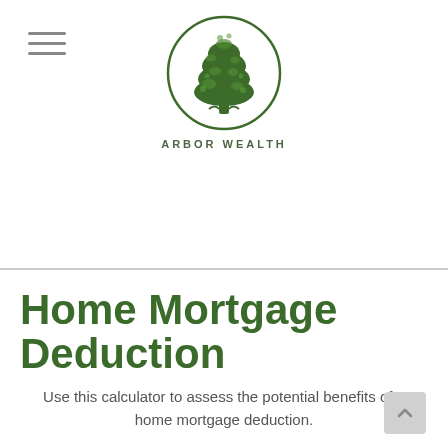[Figure (logo): Arbor Wealth logo: green tree inside a circle with text ARBOR WEALTH below]
Home Mortgage Deduction
Use this calculator to assess the potential benefits of a home mortgage deduction.